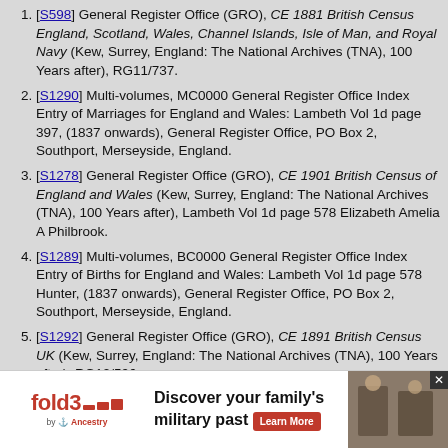[S598] General Register Office (GRO), CE 1881 British Census England, Scotland, Wales, Channel Islands, Isle of Man, and Royal Navy (Kew, Surrey, England: The National Archives (TNA), 100 Years after), RG11/737.
[S1290] Multi-volumes, MC0000 General Register Office Index Entry of Marriages for England and Wales: Lambeth Vol 1d page 397, (1837 onwards), General Register Office, PO Box 2, Southport, Merseyside, England.
[S1278] General Register Office (GRO), CE 1901 British Census of England and Wales (Kew, Surrey, England: The National Archives (TNA), 100 Years after), Lambeth Vol 1d page 578 Elizabeth Amelia A Philbrook.
[S1289] Multi-volumes, BC0000 General Register Office Index Entry of Births for England and Wales: Lambeth Vol 1d page 578 Hunter, (1837 onwards), General Register Office, PO Box 2, Southport, Merseyside, England.
[S1292] General Register Office (GRO), CE 1891 British Census UK (Kew, Surrey, England: The National Archives (TNA), 100 Years after), RG12/596.
[S1273] Various, A0000 Ancestry.co.uk (http://www.ancestry.co.uk/: Ancestry.co.uk, Various), London, England, Church of England Marriages and Banns, 1754-1921 for Alfred John Meager.
[S1278] General Register Office (GRO), CE 1901 British Census of England and Wales (Kew, Surrey, England: The National Archives (TNA), 100 Years after...
[S...] General Register Office (GRO), CE ... British Census of...